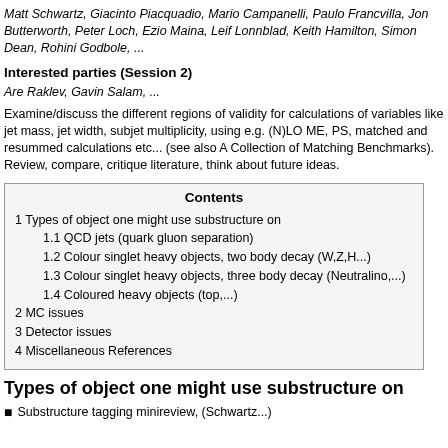Matt Schwartz, Giacinto Piacquadio, Mario Campanelli, Paulo Francvilla, Jon Butterworth, Peter Loch, Ezio Maina, Leif Lonnblad, Keith Hamilton, Simon Dean, Rohini Godbole, ...
Interested parties (Session 2)
Are Raklev, Gavin Salam, ...
Examine/discuss the different regions of validity for calculations of variables like jet mass, jet width, subjet multiplicity, using e.g. (N)LO ME, PS, matched and resummed calculations etc... (see also A Collection of Matching Benchmarks). Review, compare, critique literature, think about future ideas.
| Contents |
| --- |
| 1 Types of object one might use substructure on |
| 1.1 QCD jets (quark gluon separation) |
| 1.2 Colour singlet heavy objects, two body decay (W,Z,H...) |
| 1.3 Colour singlet heavy objects, three body decay (Neutralino,...) |
| 1.4 Coloured heavy objects (top,...) |
| 2 MC issues |
| 3 Detector issues |
| 4 Miscellaneous References |
Types of object one might use substructure on
Substructure tagging minireview, (Schwartz...)